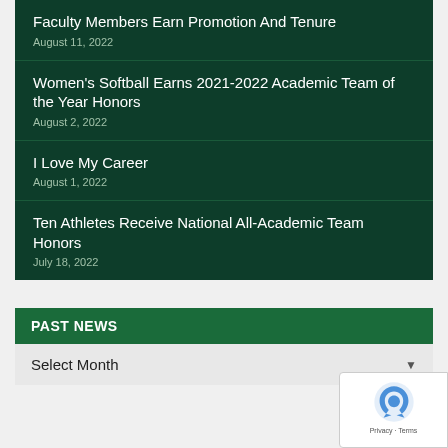Faculty Members Earn Promotion And Tenure
August 11, 2022
Women's Softball Earns 2021-2022 Academic Team of the Year Honors
August 2, 2022
I Love My Career
August 1, 2022
Ten Athletes Receive National All-Academic Team Honors
July 18, 2022
PAST NEWS
Select Month